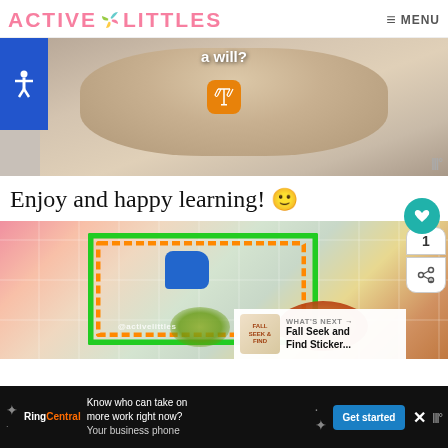ACTIVE LITTLES   MENU
[Figure (screenshot): Video thumbnail showing a sleeping baby with text 'a will?' and a scales of justice emoji icon. Blue accessibility badge on left. WW logo bottom right.]
Enjoy and happy learning! 🙂
[Figure (photo): Child reaching toward green and orange tape rectangle on floor with autumn leaves and blue watering can. @activelittles watermark. 'WHAT'S NEXT → Fall Seek and Find Sticker...' overlay. Share button showing count 1.]
Know who can take on more work right now? Your business phone
Get started